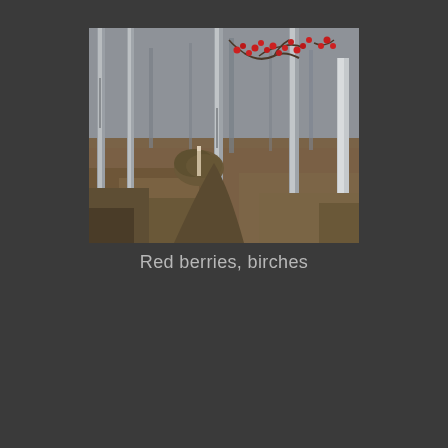[Figure (photo): A winter forest scene showing bare birch trees with thin white trunks. The ground is covered with brown fallen leaves. In the upper portion of the image, there are bright red berries on bare branches. The scene is overcast and muted in color, with a narrow dirt path visible in the middle ground.]
Red berries, birches